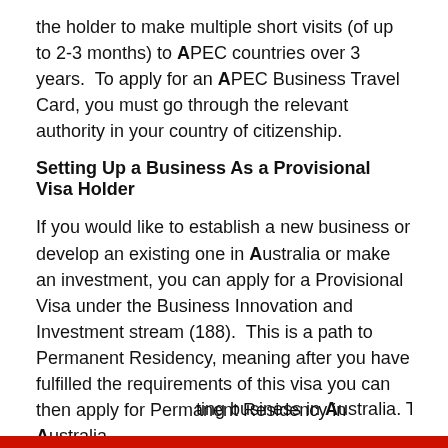the holder to make multiple short visits (of up to 2-3 months) to APEC countries over 3 years.  To apply for an APEC Business Travel Card, you must go through the relevant authority in your country of citizenship.
Setting Up a Business As a Provisional Visa Holder
If you would like to establish a new business or develop an existing one in Australia or make an investment, you can apply for a Provisional Visa under the Business Innovation and Investment stream (188).  This is a path to Permanent Residency, meaning after you have fulfilled the requirements of this visa you can then apply for Permanent Residency in Australia.
There are three streams under this visa depending on the type of business you are in. First the Business Innovation stream, which is appropriate if  you want to own and ...ting business in Australia. The